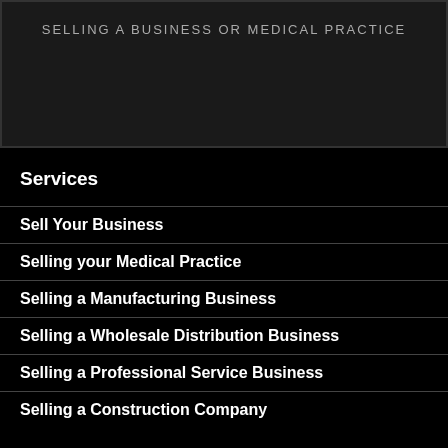SELLING A BUSINESS OR MEDICAL PRACTICE
Services
Sell Your Business
Selling your Medical Practice
Selling a Manufacturing Business
Selling a Wholesale Distribution Business
Selling a Professional Service Business
Selling a Construction Company